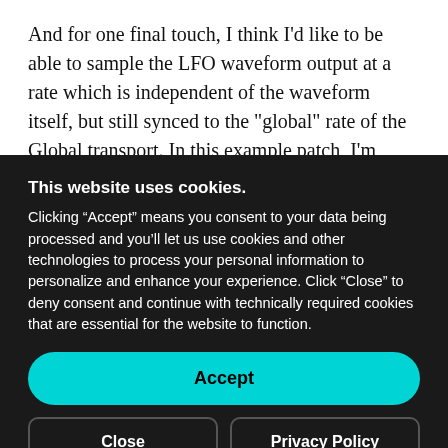And for one final touch, I think I'd like to be able to sample the LFO waveform output at a rate which is independent of the waveform itself, but still synced to the "global" rate of the Global transport. In this example patch, I'm sampling the waveform output with a
This website uses cookies. Clicking “Accept” means you consent to your data being processed and you’ll let us use cookies and other technologies to process your personal information to personalize and enhance your experience. Click “Close” to deny consent and continue with technically required cookies that are essential for the website to function.